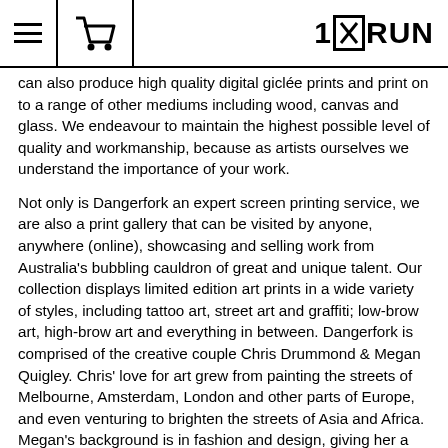1×RUN [navigation header with hamburger menu, cart icon, and 1×RUN logo]
can also produce high quality digital giclée prints and print on to a range of other mediums including wood, canvas and glass. We endeavour to maintain the highest possible level of quality and workmanship, because as artists ourselves we understand the importance of your work.

Not only is Dangerfork an expert screen printing service, we are also a print gallery that can be visited by anyone, anywhere (online), showcasing and selling work from Australia's bubbling cauldron of great and unique talent. Our collection displays limited edition art prints in a wide variety of styles, including tattoo art, street art and graffiti; low-brow art, high-brow art and everything in between. Dangerfork is comprised of the creative couple Chris Drummond & Megan Quigley. Chris' love for art grew from painting the streets of Melbourne, Amsterdam, London and other parts of Europe, and even venturing to brighten the streets of Asia and Africa. Megan's background is in fashion and design, giving her a great eye for detail, which is shown in her beautiful and extensive collection of prints from around the world. The artistic duo not only share years of experience between them in the art, fashion & design industry, they also share the same passion and enthusiasm for what they